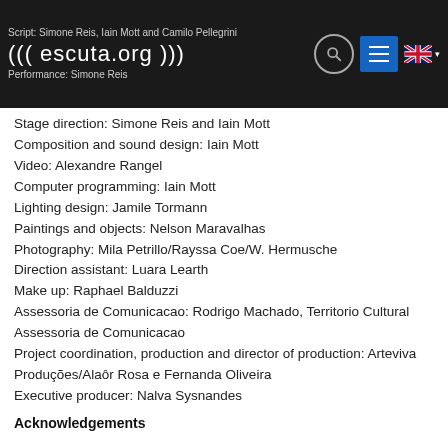Script: Simone Reis, Iain Mott and Camilo Pellegrini
((( escuta.org )))
Performance: Simone Reis
Stage direction: Simone Reis and Iain Mott
Composition and sound design: Iain Mott
Video: Alexandre Rangel
Computer programming: Iain Mott
Lighting design: Jamile Tormann
Paintings and objects: Nelson Maravalhas
Photography: Mila Petrillo/Rayssa Coe/W. Hermusche
Direction assistant: Luara Learth
Make up: Raphael Balduzzi
Assessoria de Comunicacao: Rodrigo Machado, Territorio Cultural Assessoria de Comunicacao
Project coordination, production and director of production: Arteviva Produções/Alaôr Rosa e Fernanda Oliveira
Executive producer: Nalva Sysnandes
Acknowledgements